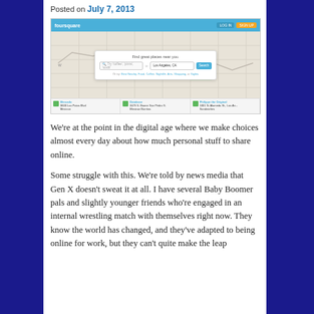Posted on July 7, 2013
[Figure (screenshot): Foursquare website screenshot showing the homepage with a map of Los Angeles and a search box that says 'Find great places near you' with location set to Los Angeles, CA, and search results at the bottom showing venues like Mercado, Database, and Philippe the Original]
We're at the point in the digital age where we make choices almost every day about how much personal stuff to share online.
Some struggle with this. We're told by news media that Gen X doesn't sweat it at all. I have several Baby Boomer pals and slightly younger friends who're engaged in an internal wrestling match with themselves right now. They know the world has changed, and they've adapted to being online for work, but they can't quite make the leap